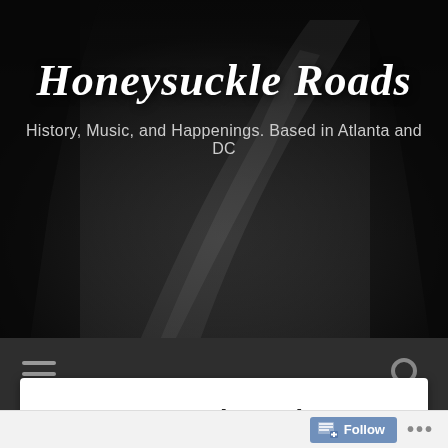[Figure (photo): Dark black-and-white photograph of a winding road through trees, used as website header background]
Honeysuckle Roads
History, Music, and Happenings. Based in Atlanta and DC
Stray Cats 40th Anniversary Tour Comes to Wolf Trap 8-13-19
[Figure (photo): Concert stage photo with colorful lights in pink, magenta, and white]
Follow ...